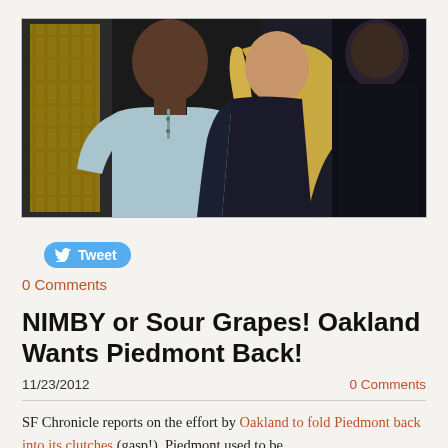[Figure (photo): Two celebrities walking together — a man in a light blue henley shirt and a woman with long blonde hair in a dark outfit, with a large man in black in the background and yellow shelving/scaffolding behind.]
[Figure (other): Tweet button with Twitter bird logo]
0 Comments
NIMBY or Sour Grapes! Oakland Wants Piedmont Back!
11/23/2012
0 Comments
SF Chronicle reports on the effort by Oakland to fold Piedmont back into its clutches (gasp!). Piedmont used to be